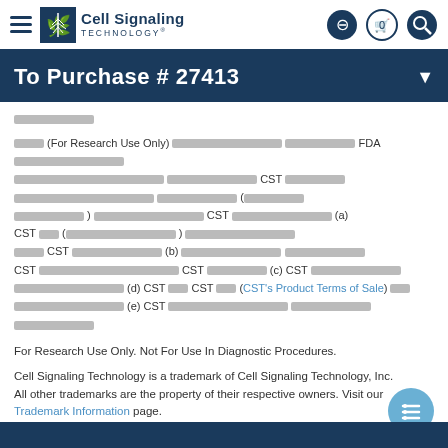Cell Signaling Technology
To Purchase # 27413
[redacted Japanese/multilingual text with FDA and CST references, including links to CST's Product Terms of Sale]
For Research Use Only. Not For Use In Diagnostic Procedures.
Cell Signaling Technology is a trademark of Cell Signaling Technology, Inc.
All other trademarks are the property of their respective owners. Visit our Trademark Information page.